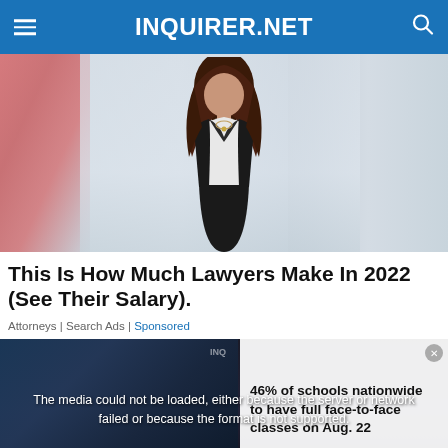INQUIRER.NET
[Figure (photo): Woman in black blazer and white blouse standing in an office background, used as hero image for lawyer salary article]
This Is How Much Lawyers Make In 2022 (See Their Salary).
Attorneys | Search Ads | Sponsored
[Figure (screenshot): Video player with error message overlay reading: The media could not be loaded, either because the server or network failed or because the format is not supported. Side card shows text: 46% of schools nationwide to have full face-to-face classes on Aug. 22. Video thumbnail in bottom-left shows same headline text in white. Close X button at bottom center.]